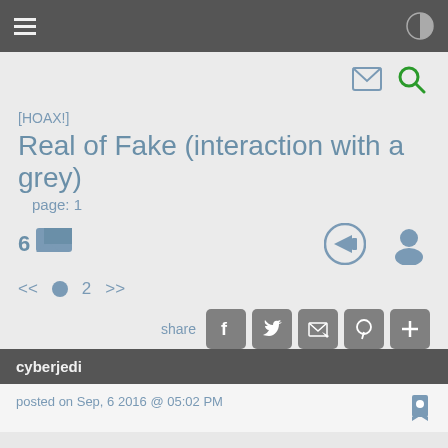☰ [hamburger menu] | [contrast icon]
[Figure (screenshot): Top navigation bar icons: envelope/mail icon and green search/magnifying glass icon]
[HOAX!]
Real of Fake (interaction with a grey)
page: 1
[Figure (infographic): Flag icon with count 6, login arrow icon and user profile icon on the right]
<< • 2 >>
[Figure (infographic): Share buttons: share label, Facebook, Twitter, email/envelope, Pinterest, plus icons]
cyberjedi
posted on Sep, 6 2016 @ 05:02 PM